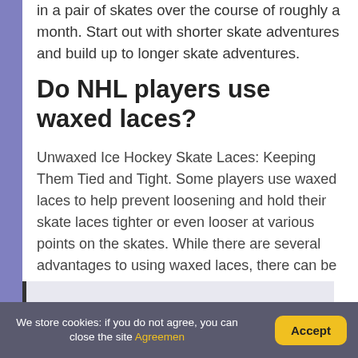in a pair of skates over the course of roughly a month. Start out with shorter skate adventures and build up to longer skate adventures.
Do NHL players use waxed laces?
Unwaxed Ice Hockey Skate Laces: Keeping Them Tied and Tight. Some players use waxed laces to help prevent loosening and hold their skate laces tighter or even looser at various points on the skates. While there are several advantages to using waxed laces, there can be a few disadvantages, too.
We store cookies: if you do not agree, you can close the site Agreemen
Accept